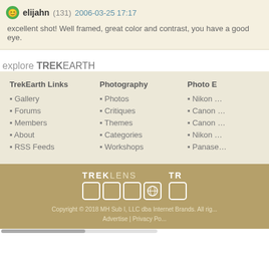elijahn (131) 2006-03-25 17:17
excellent shot! Well framed, great color and contrast, you have a good eye.
explore TREKEARTH
TrekEarth Links: Gallery, Forums, Members, About, RSS Feeds
Photography: Photos, Critiques, Themes, Categories, Workshops
Photo E...: Nikon ..., Canon ..., Canon ..., Nikon ..., Panase...
[Figure (logo): TREKLENS logo with boxes]
[Figure (logo): TR... logo with boxes]
Copyright © 2018 MH Sub I, LLC dba Internet Brands. All rig... | Advertise | Privacy Po...